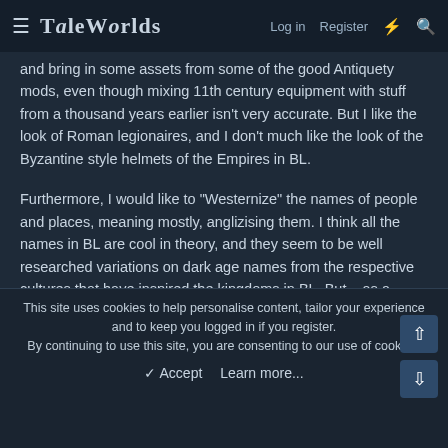TaleWorlds  Log in  Register
and bring in some assets from some of the good Antiquety mods, even though mixing 11th century equipment with stuff from a thousand years earlier isn't very accurate. But I like the look of Roman legionaires, and I don't much like the look of the Byzantine style helmets of the Empires in BL.
Furthermore, I would like to "Westernize" the names of people and places, meaning mostly, anglizising them. I think all the names in BL are cool in theory, and they seem to be well researched variations on dark age names from the respective cultures that have inspired the kingdoms in BL. But... as a Dane who speaks English, and grew up with Hollywood versions of the Middle Ages, all the names just seem too exotic, unrecognizable, unpronouncable, and therefore, impossible to remember.
This site uses cookies to help personalise content, tailor your experience and to keep you logged in if you register. By continuing to use this site, you are consenting to our use of cookies.